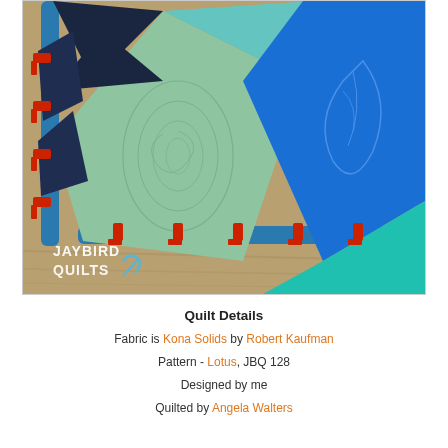[Figure (photo): Close-up photo of a quilt with geometric diamond/kite shapes in teal, mint green, dark navy, and bright blue fabrics, pinned to a blue frame with red clips. The quilting shows detailed stitching patterns including swirls and leaf designs. A 'Jaybird Quilts' watermark logo is visible in the lower left corner.]
Quilt Details
Fabric is Kona Solids by Robert Kaufman
Pattern - Lotus, JBQ 128
Designed by me
Quilted by Angela Walters